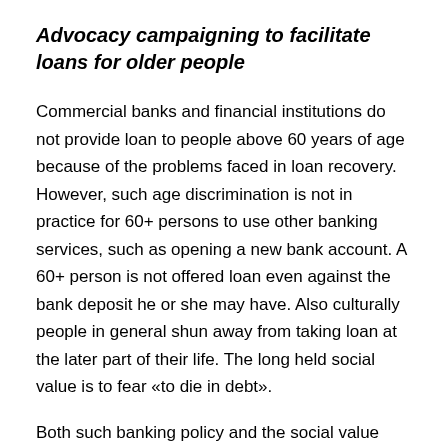Advocacy campaigning to facilitate loans for older people
Commercial banks and financial institutions do not provide loan to people above 60 years of age because of the problems faced in loan recovery. However, such age discrimination is not in practice for 60+ persons to use other banking services, such as opening a new bank account. A 60+ person is not offered loan even against the bank deposit he or she may have. Also culturally people in general shun away from taking loan at the later part of their life. The long held social value is to fear «to die in debt».
Both such banking policy and the social value have been the constraints for economically empowering older people through income generating activities. There is need to do